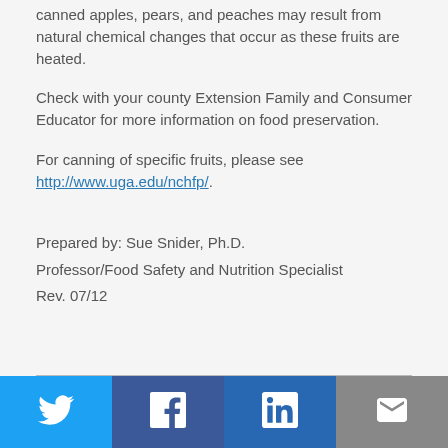canned apples, pears, and peaches may result from natural chemical changes that occur as these fruits are heated.
Check with your county Extension Family and Consumer Educator for more information on food preservation.
For canning of specific fruits, please see http://www.uga.edu/nchfp/.
Prepared by: Sue Snider, Ph.D.
Professor/Food Safety and Nutrition Specialist
Rev. 07/12
[Figure (infographic): Social media sharing bar with Twitter, Facebook, LinkedIn, and email icons]